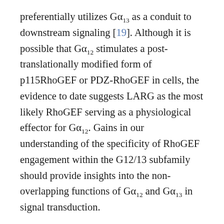preferentially utilizes Gα13 as a conduit to downstream signaling [19]. Although it is possible that Gα12 stimulates a post-translationally modified form of p115RhoGEF or PDZ-RhoGEF in cells, the evidence to date suggests LARG as the most likely RhoGEF serving as a physiological effector for Gα12. Gains in our understanding of the specificity of RhoGEF engagement within the G12/13 subfamily should provide insights into the non-overlapping functions of Gα12 and Gα13 in signal transduction.
Crystallographic studies have revealed important structural aspects of the interaction between Gα13 and the RH domain of p115RhoGEF, including numerous residues in both proteins that provide contact points for the (text continues)...